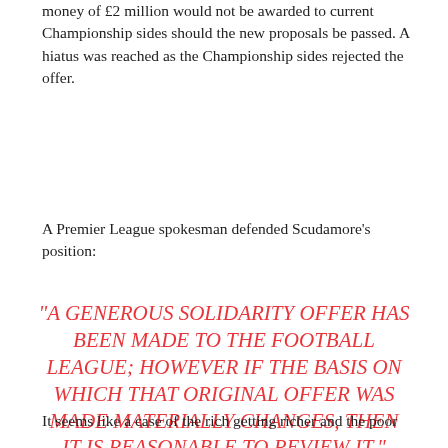money of £2 million would not be awarded to current Championship sides should the new proposals be passed. A hiatus was reached as the Championship sides rejected the offer.
A Premier League spokesman defended Scudamore's position:
“A GENEROUS SOLIDARITY OFFER HAS BEEN MADE TO THE FOOTBALL LEAGUE; HOWEVER IF THE BASIS ON WHICH THAT ORIGINAL OFFER WAS MADE MATERIALLY CHANGES, THEN IT IS REASONABLE TO REVIEW IT.”
It seems like a case of the rich getting richer and the poor